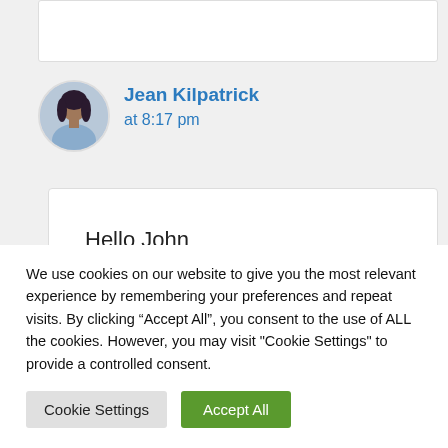Jean Kilpatrick
at 8:17 pm
Hello John
Many thanks for your response and
We use cookies on our website to give you the most relevant experience by remembering your preferences and repeat visits. By clicking “Accept All”, you consent to the use of ALL the cookies. However, you may visit "Cookie Settings" to provide a controlled consent.
Cookie Settings
Accept All